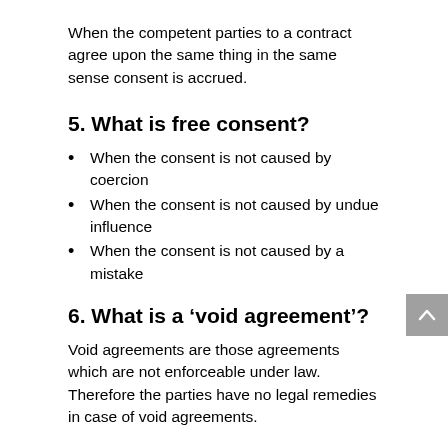When the competent parties to a contract agree upon the same thing in the same sense consent is accrued.
5. What is free consent?
When the consent is not caused by coercion
When the consent is not caused by undue influence
When the consent is not caused by a mistake
6. What is a ‘void agreement’?
Void agreements are those agreements which are not enforceable under law. Therefore the parties have no legal remedies in case of void agreements.